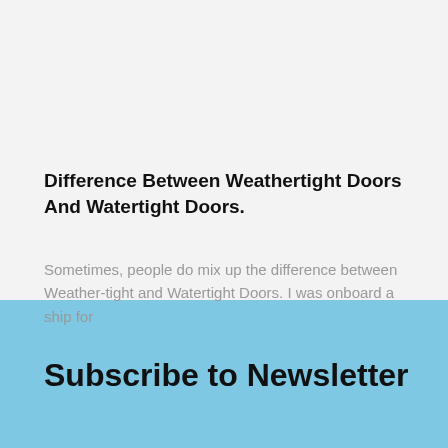Difference Between Weathertight Doors And Watertight Doors.
Sometimes, people do mix up the difference between Weather-tight and Watertight Doors. I was onboard a ship for
Subscribe to Newsletter